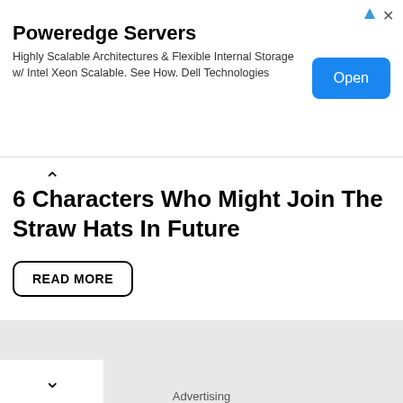[Figure (other): Advertisement banner for Poweredge Servers by Dell Technologies with an Open button]
6 Characters Who Might Join The Straw Hats In Future
READ MORE
[Figure (other): Gray advertisement block area]
Advertising